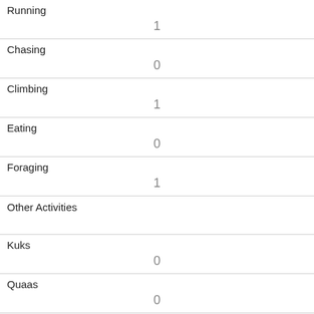| Activity/Behavior | Count |
| --- | --- |
| Running | 1 |
| Chasing | 0 |
| Climbing | 1 |
| Eating | 0 |
| Foraging | 1 |
| Other Activities |  |
| Kuks | 0 |
| Quaas | 0 |
| Moans | 0 |
| Tail flags | 0 |
| Tail twitches |  |